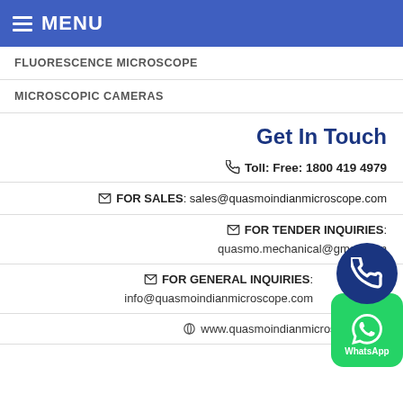MENU
FLUORESCENCE MICROSCOPE
MICROSCOPIC CAMERAS
Get In Touch
Toll: Free: 1800 419 4979
FOR SALES: sales@quasmoindianmicroscope.com
FOR TENDER INQUIRIES: quasmo.mechanical@gmail.com
FOR GENERAL INQUIRIES: info@quasmoindianmicroscope.com
www.quasmoindianmicroscope.com